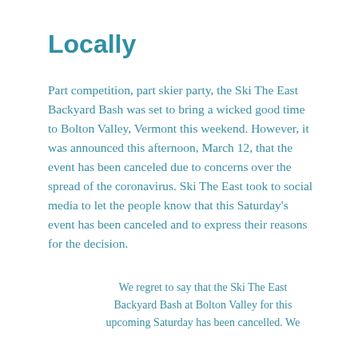Locally
Part competition, part skier party, the Ski The East Backyard Bash was set to bring a wicked good time to Bolton Valley, Vermont this weekend. However, it was announced this afternoon, March 12, that the event has been canceled due to concerns over the spread of the coronavirus. Ski The East took to social media to let the people know that this Saturday's event has been canceled and to express their reasons for the decision.
We regret to say that the Ski The East Backyard Bash at Bolton Valley for this upcoming Saturday has been cancelled. We